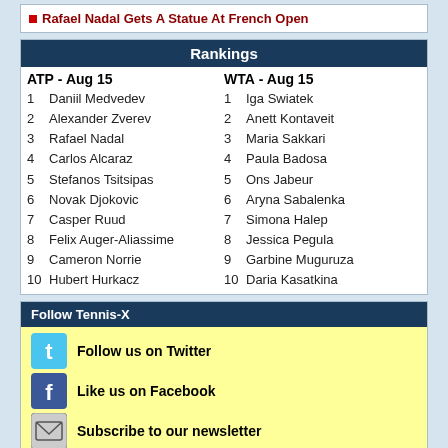Rafael Nadal Gets A Statue At French Open
| Rankings |
| --- |
| ATP - Aug 15 | WTA - Aug 15 |
| 1  Daniil Medvedev | 1  Iga Swiatek |
| 2  Alexander Zverev | 2  Anett Kontaveit |
| 3  Rafael Nadal | 3  Maria Sakkari |
| 4  Carlos Alcaraz | 4  Paula Badosa |
| 5  Stefanos Tsitsipas | 5  Ons Jabeur |
| 6  Novak Djokovic | 6  Aryna Sabalenka |
| 7  Casper Ruud | 7  Simona Halep |
| 8  Felix Auger-Aliassime | 8  Jessica Pegula |
| 9  Cameron Norrie | 9  Garbine Muguruza |
| 10 Hubert Hurkacz | 10 Daria Kasatkina |
Follow Tennis-X
Follow us on Twitter
Like us on Facebook
Subscribe to our newsletter
Keep updated via RSS
Writers